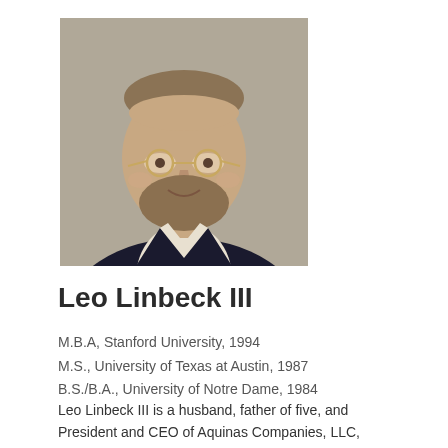[Figure (photo): Professional headshot of Leo Linbeck III, a man with short hair, glasses, beard, wearing a dark blazer and white shirt, against a neutral gray background.]
Leo Linbeck III
M.B.A, Stanford University, 1994
M.S., University of Texas at Austin, 1987
B.S./B.A., University of Notre Dame, 1984
Leo Linbeck III is a husband, father of five, and President and CEO of Aquinas Companies, LLC,